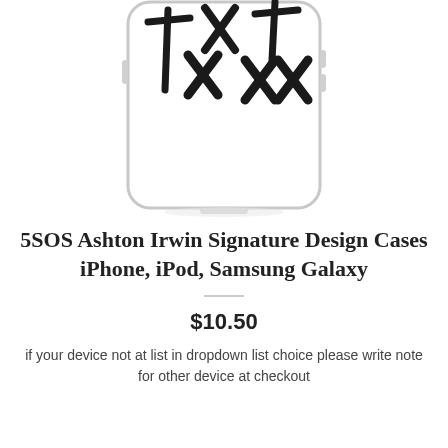[Figure (photo): A clear phone case with hand-drawn black X marks and cross symbols on it, photographed against a white background.]
5SOS Ashton Irwin Signature Design Cases iPhone, iPod, Samsung Galaxy
$10.50
if your device not at list in dropdown list choice please write note for other device at checkout